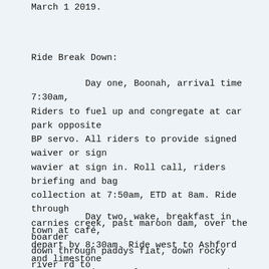March 1  2019.
Ride Break Down:
Day one, Boonah, arrival time 7:30am, Riders to fuel up and congregate at car park opposite BP servo. All riders to provide signed waiver or sign wavier at sign in. Roll call, riders briefing and bag collection at 7:50am, ETD at 8am. Ride through carnies creek, past maroon dam, over the boarder down through paddys flat, down rocky river rd to Tenterfield. Fuel up at Tenterfield and regroup. Take customers to accommodation and settle in for dinner and run down. About 280km
Day two, wake, breakfast in town at café, depart by 8:30am. Ride west to Ashford and limestone caves, continue to lemon tree camp site for lunch stop and swim in river if warm enough. Leave by 1pm